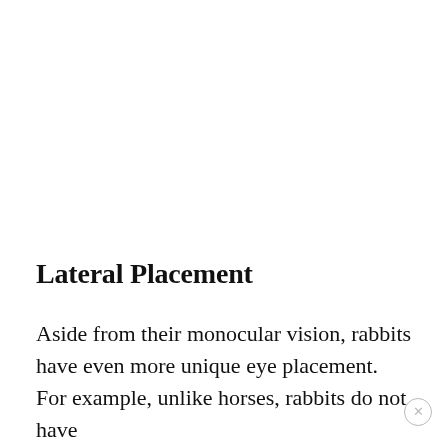Lateral Placement
Aside from their monocular vision, rabbits have even more unique eye placement. For example, unlike horses, rabbits do not have eyes placed directly on either side of their head, but rather...